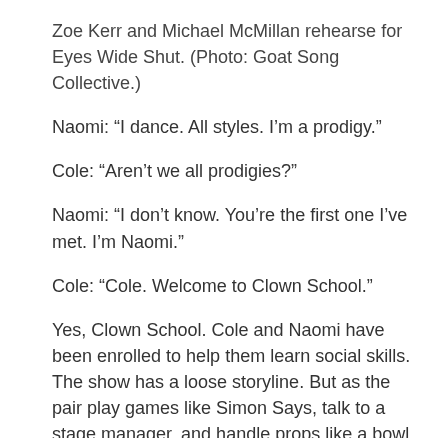Zoe Kerr and Michael McMillan rehearse for Eyes Wide Shut. (Photo: Goat Song Collective.)
Naomi: “I dance. All styles. I’m a prodigy.”
Cole: “Aren’t we all prodigies?”
Naomi: “I don’t know. You’re the first one I’ve met. I’m Naomi.”
Cole: “Cole. Welcome to Clown School.”
Yes, Clown School. Cole and Naomi have been enrolled to help them learn social skills. The show has a loose storyline. But as the pair play games like Simon Says, talk to a stage manager, and handle props like a bowl of spinach and xylophone mallets, the audience gets uncomfortable. It all seems meant to get the audience to experience a sensory overload, something